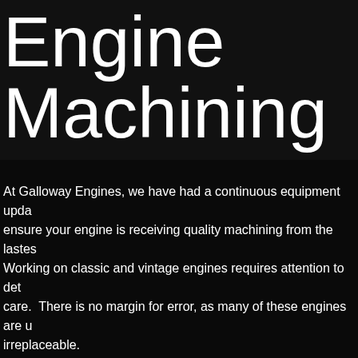Engine Machining
At Galloway Engines, we have had a continuous equipment update to ensure your engine is receiving quality machining from the lastes Working on classic and vintage engines requires attention to detail and care.  There is no margin for error, as many of these engines are irreplaceable.
Our machining capabilities include: